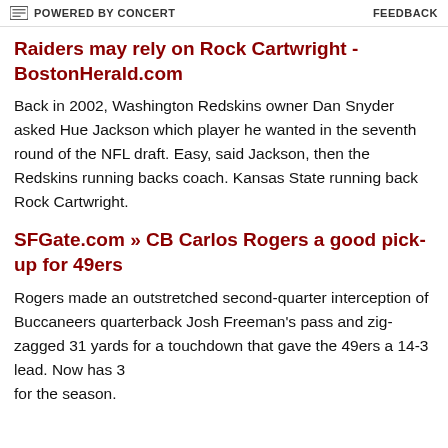POWERED BY CONCERT   FEEDBACK
Raiders may rely on Rock Cartwright - BostonHerald.com
Back in 2002, Washington Redskins owner Dan Snyder asked Hue Jackson which player he wanted in the seventh round of the NFL draft. Easy, said Jackson, then the Redskins running backs coach. Kansas State running back Rock Cartwright.
SFGate.com » CB Carlos Rogers a good pick-up for 49ers
Rogers made an outstretched second-quarter interception of Buccaneers quarterback Josh Freeman's pass and zig-zagged 31 yards for a touchdown that gave the 49ers a 14-3 lead. Now has 3 for the season.